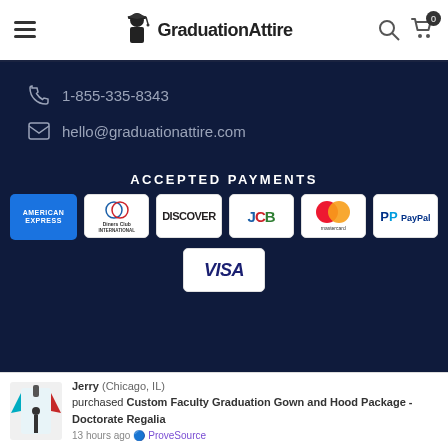GraduationAttire — navigation header with hamburger menu, logo, search and cart icons
1-855-335-8343
hello@graduationattire.com
ACCEPTED PAYMENTS
[Figure (infographic): Accepted payment method logos: American Express, Diners Club International, Discover, JCB, Mastercard, PayPal, Visa]
Jerry (Chicago, IL) purchased Custom Faculty Graduation Gown and Hood Package - Doctorate Regalia 13 hours ago ProveSource